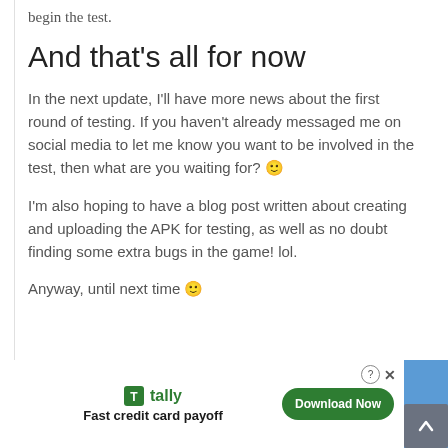begin the test.
And that’s all for now
In the next update, I’ll have more news about the first round of testing. If you haven’t already messaged me on social media to let me know you want to be involved in the test, then what are you waiting for? 🙂
I’m also hoping to have a blog post written about creating and uploading the APK for testing, as well as no doubt finding some extra bugs in the game! lol.
Anyway, until next time 🙂
[Figure (screenshot): Advertisement banner for Tally - Fast credit card payoff app with a Download Now button, close (X) and help (?) controls, on a blue background.]